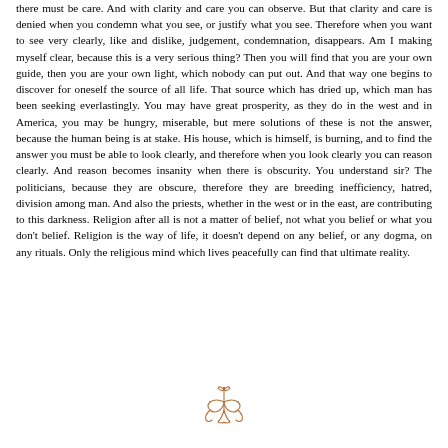there must be care. And with clarity and care you can observe. But that clarity and care is denied when you condemn what you see, or justify what you see. Therefore when you want to see very clearly, like and dislike, judgement, condemnation, disappears. Am I making myself clear, because this is a very serious thing? Then you will find that you are your own guide, then you are your own light, which nobody can put out. And that way one begins to discover for oneself the source of all life. That source which has dried up, which man has been seeking everlastingly. You may have great prosperity, as they do in the west and in America, you may be hungry, miserable, but mere solutions of these is not the answer, because the human being is at stake. His house, which is himself, is burning, and to find the answer you must be able to look clearly, and therefore when you look clearly you can reason clearly. And reason becomes insanity when there is obscurity. You understand sir? The politicians, because they are obscure, therefore they are breeding inefficiency, hatred, division among man. And also the priests, whether in the west or in the east, are contributing to this darkness. Religion after all is not a matter of belief, not what you belief or what you don't belief. Religion is the way of life, it doesn't depend on any belief, or any dogma, on any rituals. Only the religious mind which lives peacefully can find that ultimate reality.
[Figure (illustration): A decorative ornamental flourish or vignette in a copper/bronze color, resembling a stylized floral or lotus symbol with curling tendrils.]